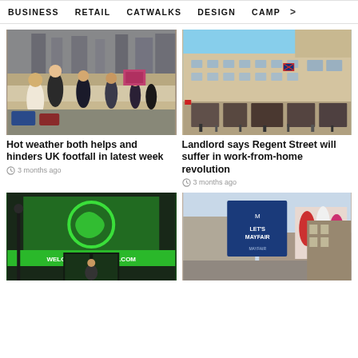BUSINESS   RETAIL   CATWALKS   DESIGN   CAMP >
[Figure (photo): Busy UK high street with pedestrians walking in sunny weather]
Hot weather both helps and hinders UK footfall in latest week
3 months ago
[Figure (photo): Regent Street building exterior with Union Jack flag, large classical architecture, crowd of pedestrians]
Landlord says Regent Street will suffer in work-from-home revolution
3 months ago
[Figure (photo): Green shopfront entrance with large circular logo, Welcome to Currys signage]
[Figure (photo): Mayfair Let's Mayfair billboard advertisement on building exterior]